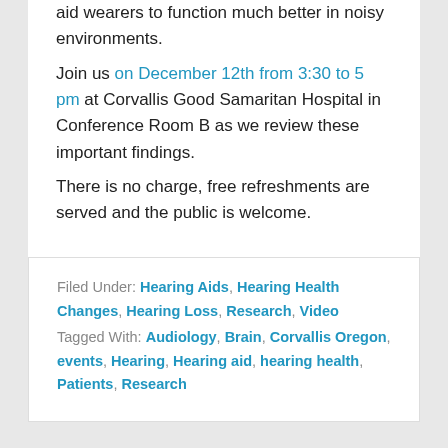aid wearers to function much better in noisy environments. Join us on December 12th from 3:30 to 5 pm at Corvallis Good Samaritan Hospital in Conference Room B as we review these important findings. There is no charge, free refreshments are served and the public is welcome.
Filed Under: Hearing Aids, Hearing Health Changes, Hearing Loss, Research, Video
Tagged With: Audiology, Brain, Corvallis Oregon, events, Hearing, Hearing aid, hearing health, Patients, Research